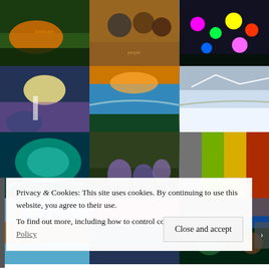[Figure (photo): 3x4 grid of colorful nature and people photos: landscape with sunset, African children smiling, colorful tulips, girl in flower field, river canyon sunset, snowy mountain reflection, ocean wave, purple bluebells, colorful sliced fruits, coastal cliffs, pink sunset mountains, vibrant forest]
Privacy & Cookies: This site uses cookies. By continuing to use this website, you agree to their use.
To find out more, including how to control cookies, see here: Cookie Policy
Close and accept